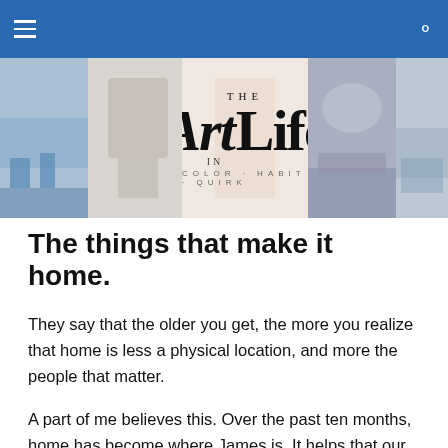Navigation bar with hamburger menu and search icon
[Figure (logo): The Art IN Life logo banner with tagline COLOR HABIT QUIRK, flanked by photography panels on left and right]
The things that make it home.
They say that the older you get, the more you realize that home is less a physical location, and more the people that matter.
A part of me believes this. Over the past ten months, home has become where James is. It helps that our